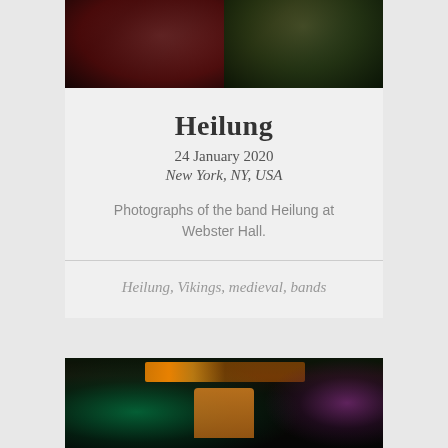[Figure (photo): Dark concert photographs of the band Heilung, showing performers on stage with dramatic lighting — left half with reddish tones, right half with greenish dramatic costume lighting]
Heilung
24 January 2020
New York, NY, USA
Photographs of the band Heilung at Webster Hall.
Heilung, Vikings, medieval, bands
[Figure (photo): Concert photograph of Heilung at Webster Hall, showing performers on stage with green and purple stage lighting, performer in orange/red outfit with arms outstretched]